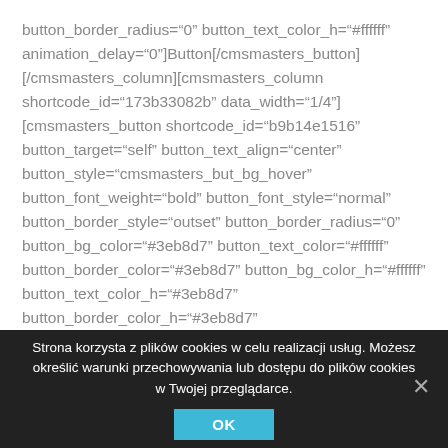button_border_radius="0" button_text_color_h="#ffffff" animation_delay="0"]Button[/cmsmasters_button] [/cmsmasters_column][cmsmasters_column shortcode_id="173b33082b" data_width="1/4"][cmsmasters_button shortcode_id="b9b14e1516" button_target="self" button_text_align="center" button_style="cmsmasters_but_bg_hover" button_font_weight="bold" button_font_style="normal" button_border_style="outset" button_border_radius="0" button_bg_color="#3eb8d7" button_text_color="#ffffff" button_border_color="#3eb8d7" button_bg_color_h="#ffffff" button_text_color_h="#3eb8d7" button_border_color_h="#3eb8d7" animation_delay="0"]Button[/cmsmasters_button]
Strona korzysta z plików cookies w celu realizacji usług. Możesz określić warunki przechowywania lub dostępu do plików cookies w Twojej przeglądarce.